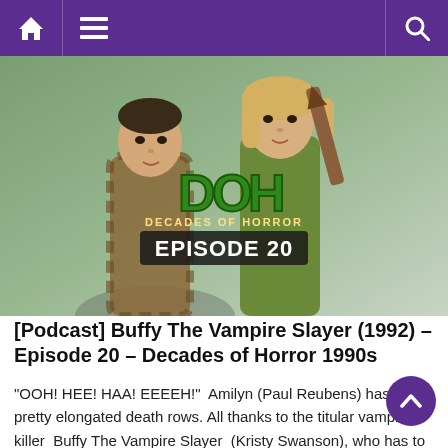Navigation bar with home, menu, and search icons
[Figure (photo): Movie poster style image showing two young actors (a male and female) for the Decades of Horror podcast Episode 20, featuring green DOH logo text and 'EPISODE 20' subtitle. The female holds a wooden stake.]
[Podcast] Buffy The Vampire Slayer (1992) – Episode 20 – Decades of Horror 1990s
"OOH! HEE! HAA! EEEEH!"  Amilyn (Paul Reubens) has some pretty elongated death rows. All thanks to the titular vampire killer  Buffy The Vampire Slayer  (Kristy Swanson), who has to stake vamps ON A SCHOOL NIGHT?! Yes, instead of attending the senior dance,  Buffy  must contend with the dark forces